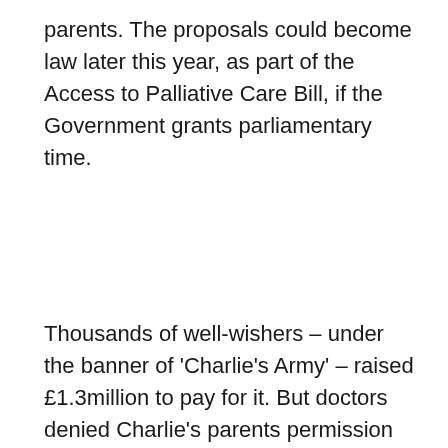parents. The proposals could become law later this year, as part of the Access to Palliative Care Bill, if the Government grants parliamentary time.
Thousands of well-wishers – under the banner of 'Charlie's Army' – raised £1.3million to pay for it. But doctors denied Charlie's parents permission to take